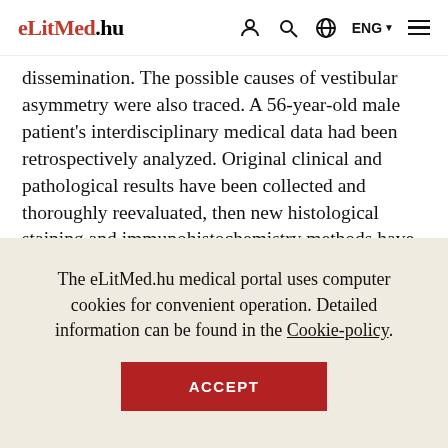eLitMed.hu
dissemination. The possible causes of vestibular asymmetry were also traced. A 56-year-old male patient's interdisciplinary medical data had been retrospectively analyzed. Original clinical and pathological results have been collected and thoroughly reevaluated, then new histological staining and immunohistochemistry methods have been added to the diagnostic pool. During the autopsy the cerebrum and cerebellum was edematous. The apex of the left petrous bone was infiltrated and
The eLitMed.hu medical portal uses computer cookies for convenient operation. Detailed information can be found in the Cookie-policy.
ACCEPT